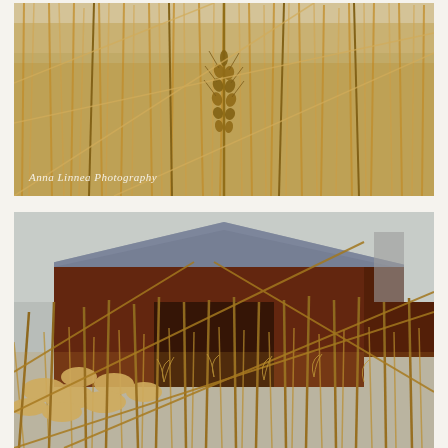[Figure (photo): Close-up photograph of golden wheat or wild grass stalks with a wheat spike in the center, warm amber tones, shallow depth of field, overcast sky visible at top. Watermark text 'Anna Linnea Photography' in white italic script at bottom left.]
[Figure (photo): Photograph of golden wild grass and dried seed heads in the foreground with a red barn and gray/blue metal roof partially visible behind the tall grasses in the background. Warm golden tones with muted background.]